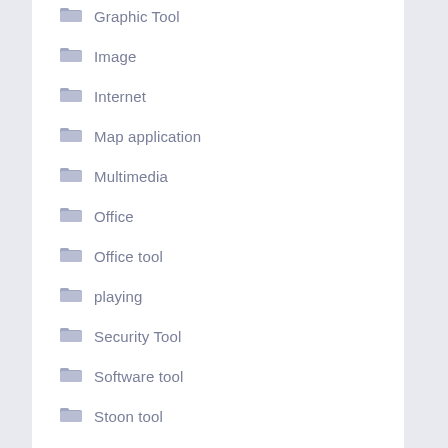Graphic Tool
Image
Internet
Map application
Multimedia
Office
Office tool
playing
Security Tool
Software tool
Stoon tool
System Optimization
Uncategorized